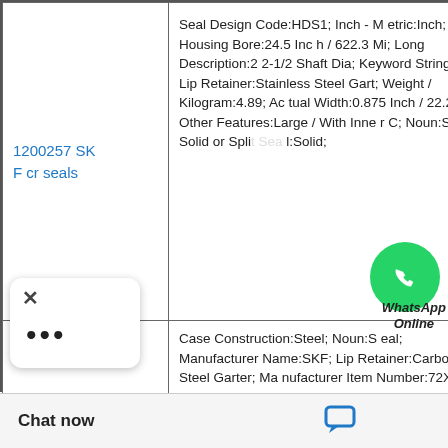| Product | Description |
| --- | --- |
| 1200257 SKF cr seals | Seal Design Code:HDS1; Inch - Metric:Inch; Housing Bore:24.5 Inch / 622.3 Mi; Long Description:22-1/2 Shaft Dia; Keyword String:Lip; Lip Retainer:Stainless Steel Gart; Weight / Kilogram:4.89; Actual Width:0.875 Inch / 22.225; Other Features:Large / With Inner C; Noun:Seal; Solid or Split Seal:Solid; |
| 1800593 S r seal | Case Construction:Steel; Noun:Seal; Manufacturer Name:SKF; Lip Retainer:Carbon Steel Garter; Manufacturer Item Number:72X90X8 HMSA27 R; Solid or Split Seal:Solid; Spring Loaded:Yes; Weight / Kilogram:0.069; Nominal Width:0.315 Inch / 8 Milli; Inch - Metric:Description:72MM |
WhatsApp Online
Chat now